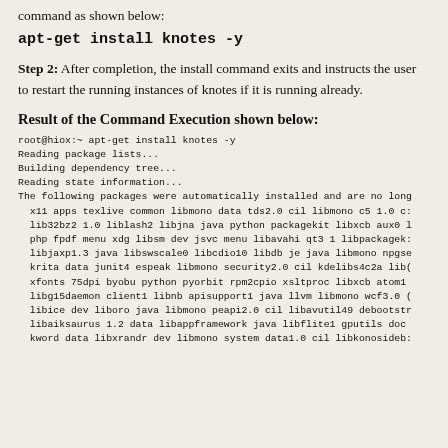command as shown below:
apt-get install knotes -y
Step 2: After completion, the install command exits and instructs the user to restart the running instances of knotes if it is running already.
Result of the Command Execution shown below:
root@hiox:~ apt-get install knotes -y
Reading package lists...
Building dependency tree...
Reading state information...
The following packages were automatically installed and are no long
  x11 apps texlive common libmono data tds2.0 cil libmono c5 1.0 c:
  lib32bz2 1.0 liblash2 libjna java python packagekit libxcb aux0 l
  php fpdf menu xdg libsm dev jsvc menu libavahi qt3 1 libpackagek:
  libjaxp1.3 java libswscale0 libcdio10 libdb je java libmono npgse
  krita data junit4 espeak libmono security2.0 cil kdelibs4c2a lib(
  xfonts 75dpi byobu python pyorbit rpm2cpio xsltproc libxcb atom1
  libg15daemon client1 libnb apisupport1 java llvm libmono wcf3.0 (
  libice dev liboro java libmono peapi2.0 cil libavutil49 debootstr
  libaiksaurus 1.2 data libappframework java libflite1 gputils doc
  kword data libxrandr dev libmono system data1.0 cil libkonosideb: